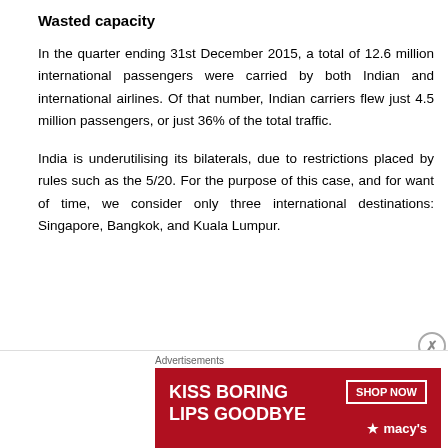Wasted capacity
In the quarter ending 31st December 2015, a total of 12.6 million international passengers were carried by both Indian and international airlines. Of that number, Indian carriers flew just 4.5 million passengers, or just 36% of the total traffic.
India is underutilising its bilaterals, due to restrictions placed by rules such as the 5/20. For the purpose of this case, and for want of time, we consider only three international destinations: Singapore, Bangkok, and Kuala Lumpur.
[Figure (photo): Macy's advertisement banner: 'KISS BORING LIPS GOODBYE' with SHOP NOW button and Macy's logo on red background with woman's face]